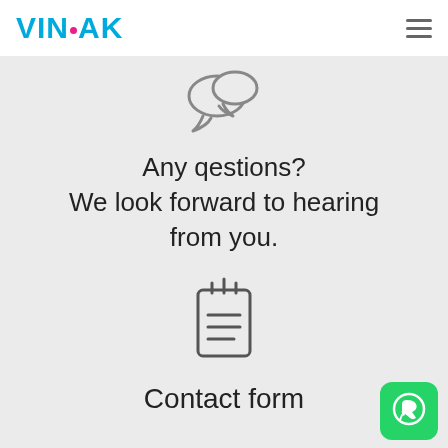[Figure (logo): VINSAK logo in cyan/blue bold text with a magenta dot above the A]
[Figure (illustration): Hamburger menu icon (three horizontal lines) in top right corner]
[Figure (illustration): Chat bubble / question mark icon in light gray background area]
Any qestions?
We look forward to hearing from you.
[Figure (illustration): Notepad / contact form icon with spiral binding and horizontal lines]
Contact form
[Figure (illustration): WhatsApp icon button (green rounded square with white phone/chat logo) in bottom right corner]